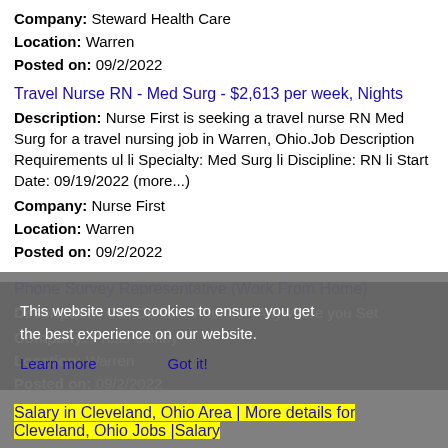Company: Steward Health Care
Location: Warren
Posted on: 09/2/2022
Travel Nurse RN - Med Surg - $2,613 per week, Nights
Description: Nurse First is seeking a travel nurse RN Med Surg for a travel nursing job in Warren, Ohio.Job Description Requirements ul li Specialty: Med Surg li Discipline: RN li Start Date: 09/19/2022 (more...)
Company: Nurse First
Location: Warren
Posted on: 09/2/2022
Phone Survey Representative (Work From Home)
Description: Call Center / Phones - Anywhere you Set
Company: Press Ganey
Location: Warren
Posted on: 09/2/2022
Salary in Cleveland, Ohio Area | More details for Cleveland, Ohio Jobs |Salary
Radiation Oncology Physician (RADONC) - Physicians Only Apply - Locum